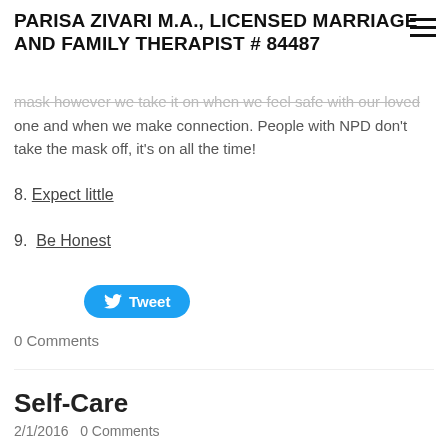PARISA ZIVARI M.A., LICENSED MARRIAGE AND FAMILY THERAPIST # 84487
mask however we take it on when we feel safe with our loved one and when we make connection. People with NPD don't take the mask off, it's on all the time!
8. Expect little
9.  Be Honest
[Figure (other): Twitter Tweet button with bird icon]
0 Comments
Self-Care
2/1/2016   0 Comments